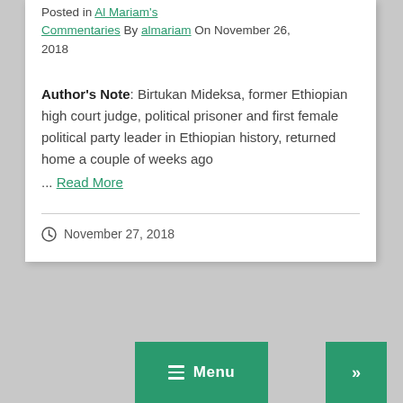Posted in Al Mariam's Commentaries By almariam On November 26, 2018
Author's Note: Birtukan Mideksa, former Ethiopian high court judge, political prisoner and first female political party leader in Ethiopian history, returned home a couple of weeks ago ... Read More
November 27, 2018